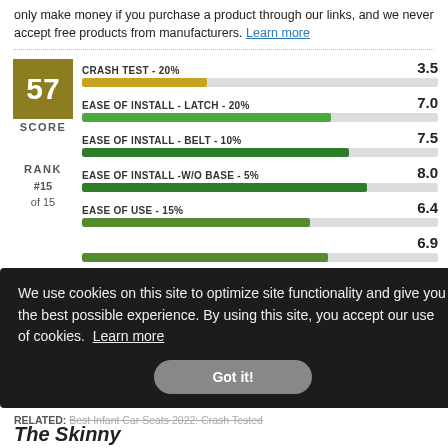only make money if you purchase a product through our links, and we never accept free products from manufacturers. Learn more
[Figure (bar-chart): Score 57 - Rank #15 of 15]
We use cookies on this site to optimize site functionality and give you the best possible experience. By using this site, you accept our use of cookies. Learn more
RELATED: Best Infant Car Seats 2022: Crash Tested
The Skinny